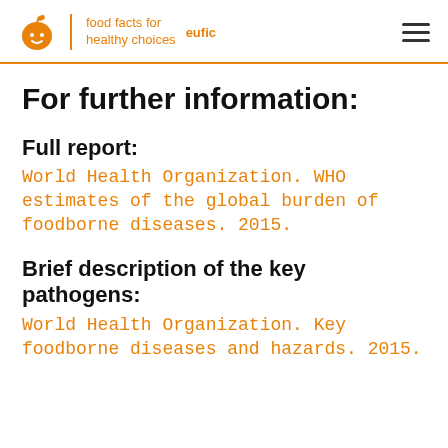eufic food facts for healthy choices
For further information:
Full report:
World Health Organization. WHO estimates of the global burden of foodborne diseases. 2015.
Brief description of the key pathogens:
World Health Organization. Key foodborne diseases and hazards. 2015.